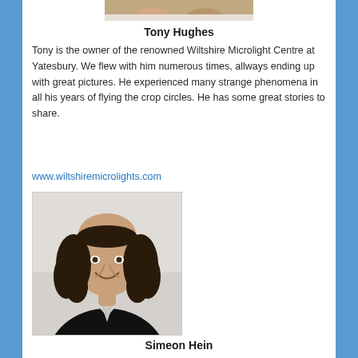[Figure (photo): Partial photo of Tony Hughes at top of page (cropped, only bottom portion visible)]
Tony Hughes
Tony is the owner of the renowned Wiltshire Microlight Centre at Yatesbury. We flew with him numerous times, allways ending up with great pictures. He experienced many strange phenomena in all his years of flying the crop circles. He has some great stories to share.
www.wiltshiremicrolights.com
[Figure (photo): Portrait photo of Simeon Hein, a bald man with curly dark hair on sides, wearing a black jacket, smiling, against a light background]
Simeon Hein
Dr. Simeon Hein has a Ph. D. in Sociology with a focus on the interaction between humans and